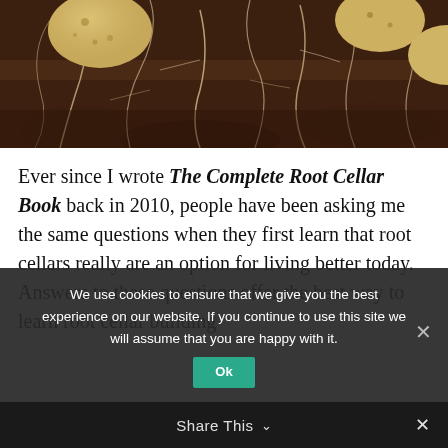[Figure (photo): Close-up photograph of potatoes being harvested from dark soil, with roots and earth visible]
Ever since I wrote The Complete Root Cellar Book back in 2010, people have been asking me the same questions when they first learn that root cellars really are an option for living better today. Answers to these questions offer the best way to learn root cellar building
We use cookies to ensure that we give you the best experience on our website. If you continue to use this site we will assume that you are happy with it.
Ok
Share This